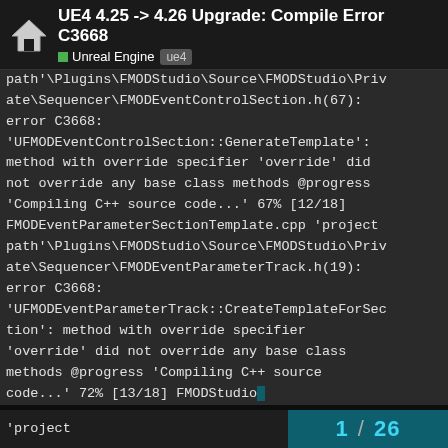UE4 4.25 -> 4.26 Upgrade: Compile Error C3668 | Unreal Engine | ue4
path'\Plugins\FMODStudio\Source\FMODStudio\Private\Sequencer\FMODEventControlSection.h(67): error C3668: 'UFMODEventControlSection::GenerateTemplate': method with override specifier 'override' did not override any base class methods @progress 'Compiling C++ source code...' 67% [12/18] FMODEventParameterSectionTemplate.cpp 'project path'\Plugins\FMODStudio\Source\FMODStudio\Private\Sequencer\FMODEventParameterTrack.h(19): error C3668: 'UFMODEventParameterTrack::CreateTemplateForSection': method with override specifier 'override' did not override any base class methods @progress 'Compiling C++ source code...' 72% [13/18] FMODStudio... 'project
1 / 26